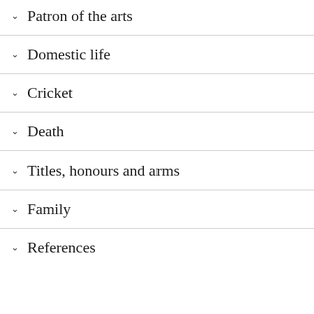Patron of the arts
Domestic life
Cricket
Death
Titles, honours and arms
Family
References